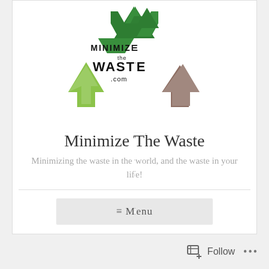[Figure (logo): MinimizeTheWaste.com recycling logo with green, yellow-green, and brown arrows forming a recycling symbol, with text MINIMIZE the WASTE .com]
Minimize The Waste
Minimizing the waste in the world, and the waste in your life!
≡ Menu
Follow ...